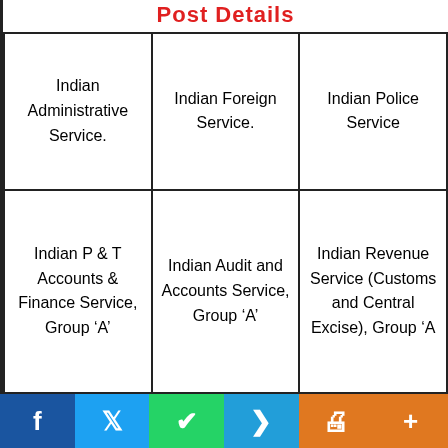Post Details
| Indian Administrative Service. | Indian Foreign Service. | Indian Police Service |
| Indian P & T Accounts & Finance Service, Group 'A' | Indian Audit and Accounts Service, Group 'A' | Indian Revenue Service (Customs and Central Excise), Group 'A |